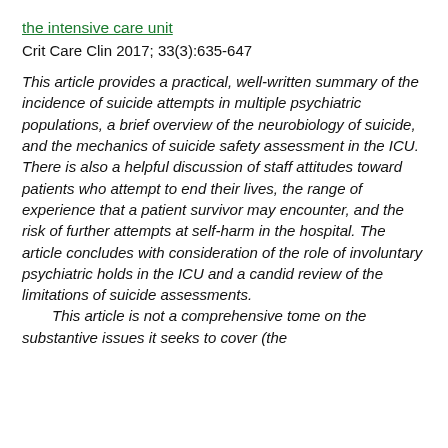the intensive care unit
Crit Care Clin 2017; 33(3):635-647
This article provides a practical, well-written summary of the incidence of suicide attempts in multiple psychiatric populations, a brief overview of the neurobiology of suicide, and the mechanics of suicide safety assessment in the ICU. There is also a helpful discussion of staff attitudes toward patients who attempt to end their lives, the range of experience that a patient survivor may encounter, and the risk of further attempts at self-harm in the hospital. The article concludes with consideration of the role of involuntary psychiatric holds in the ICU and a candid review of the limitations of suicide assessments.
This article is not a comprehensive tome on the substantive issues it seeks to cover (the